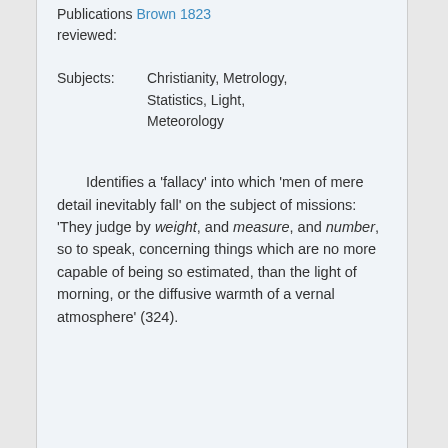Publications Brown 1823 reviewed:
Subjects: Christianity, Metrology, Statistics, Light, Meteorology
Identifies a 'fallacy' into which 'men of mere detail inevitably fall' on the subject of missions: 'They judge by weight, and measure, and number, so to speak, concerning things which are no more capable of being so estimated, than the light of morning, or the diffusive warmth of a vernal atmosphere' (324).